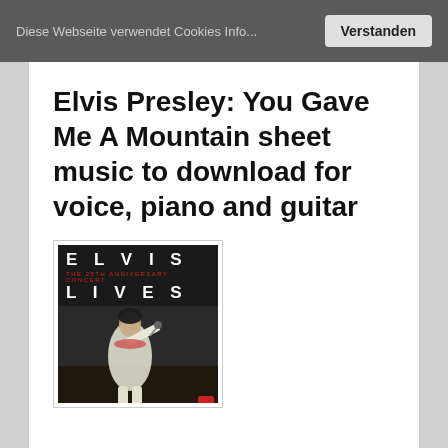Diese Webseite verwendet Cookies Info...
Verstanden
Elvis Presley: You Gave Me A Mountain sheet music to download for voice, piano and guitar
[Figure (photo): Book cover of 'Elvis Lives - The 25th Anniversary Concert' showing Elvis Presley performing, with the Hal Leonard publisher logo.]